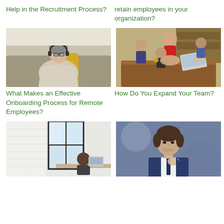Help in the Recruitment Process?
retain employees in your organization?
[Figure (photo): Woman wearing headphones, sitting on a couch with a laptop, working remotely]
[Figure (photo): Group of colleagues putting hands together in a team huddle around a table]
What Makes an Effective Onboarding Process for Remote Employees?
How Do You Expand Your Team?
[Figure (photo): Office interior with a person working at a desk near a large window with brick wall]
[Figure (photo): Young professional man in a suit adjusting his tie, looking confident]